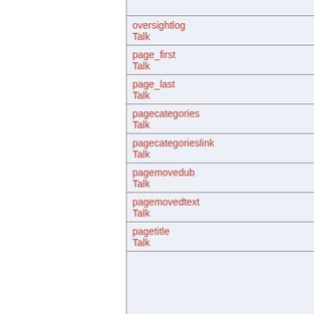|  |  |
| --- | --- |
|  | oversightlog
Talk |
|  | page_first
Talk |
|  | page_last
Talk |
|  | pagecategories
Talk |
|  | pagecategorieslink
Talk |
|  | pagemovedub
Talk |
|  | pagemovedtext
Talk |
|  | pagetitle
Talk |
|  | passwordremindertext
Talk |